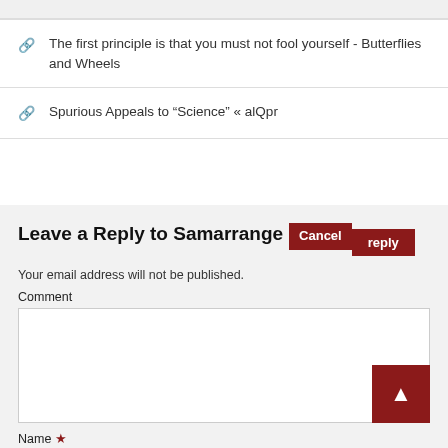The first principle is that you must not fool yourself - Butterflies and Wheels
Spurious Appeals to “Science” « alQpr
Leave a Reply to Samarrange Cancel reply
Your email address will not be published.
Comment
Name *